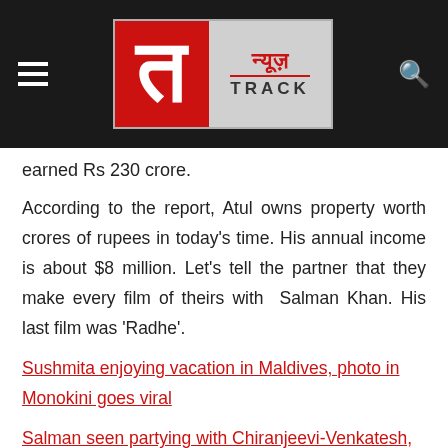[Figure (logo): News Track logo with hamburger menu and search icon on dark header bar]
earned Rs 230 crore.
According to the report, Atul owns property worth crores of rupees in today's time. His annual income is about $8 million. Let's tell the partner that they make every film of theirs with Salman Khan. His last film was 'Radhe'.
Sushmita enjoying vacation in Maldives, photo in Monokini goes viral
Salman seen partying with Chiranjeevi-Venkatesh, picture goes viral